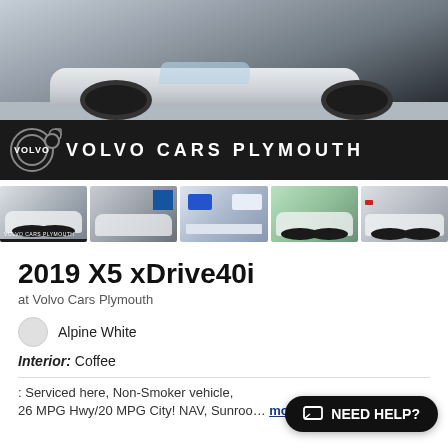[Figure (photo): Main hero image of a white BMW X5 SUV, showing partial view from below with tires visible, in a parking lot]
[Figure (logo): Volvo Cars Plymouth dealership banner with Volvo logo circle and text 'VOLVO CARS PLYMOUTH' in white on black background]
[Figure (photo): Row of 5 thumbnail images: white SUV at dealership, white SUV at dealership different angle, document/report page, white SUV front view with trees, white SUV rear view]
2019 X5 xDrive40i
at Volvo Cars Plymouth
Alpine White
Interior: Coffee
: Serviced here, Non-Smoker vehicle, 26 MPG Hwy/20 MPG City! NAV, Sunroof ... more